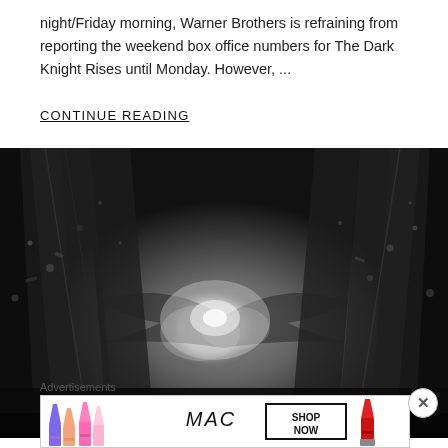night/Friday morning, Warner Brothers is refraining from reporting the weekend box office numbers for The Dark Knight Rises until Monday. However, ...
CONTINUE READING
[Figure (photo): Dark cinematic image showing city buildings from a low angle with explosive debris and a bat-symbol silhouette formed by the destruction, black and white tones]
Advertisements
[Figure (photo): MAC cosmetics advertisement banner showing colorful lipsticks on left, MAC logo in center, and SHOP NOW button on right with a red lipstick]